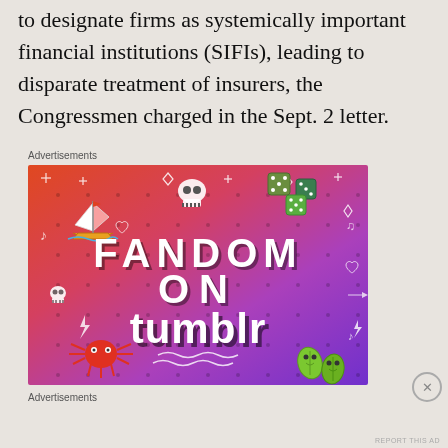to designate firms as systemically important financial institutions (SIFIs), leading to disparate treatment of insurers, the Congressmen charged in the Sept. 2 letter.
Advertisements
[Figure (illustration): Fandom on Tumblr advertisement banner with colorful gradient background (purple, orange, red) and white hand-drawn doodles including a sailboat, skulls, dice, leaves, and a crab. Text reads FANDOM ON tumblr.]
Advertisements